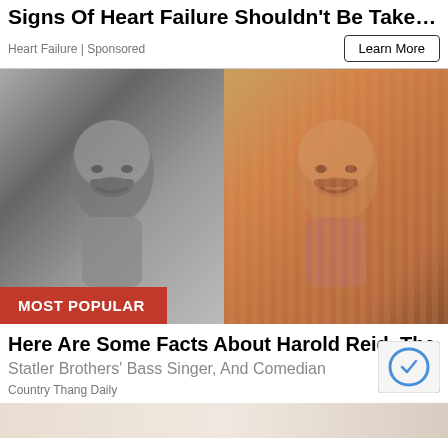Signs Of Heart Failure Shouldn't Be Taken...
Heart Failure | Sponsored
Learn More
[Figure (photo): Split photo showing two portraits of Harold Reid: left side in black and white, right side in color with warm tones. Both show a middle-aged man with dark hair and a mustache. A red badge reads 'MOST POPULAR' at the bottom left.]
Here Are Some Facts About Harold Reid, The Statler Brothers' Bass Singer, And Comedian
Country Thang Daily